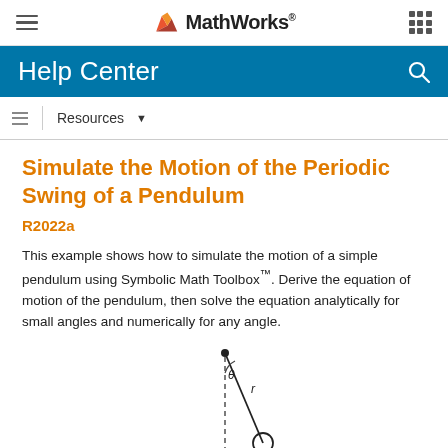MathWorks
Help Center
Resources
Simulate the Motion of the Periodic Swing of a Pendulum R2022a
This example shows how to simulate the motion of a simple pendulum using Symbolic Math Toolbox™. Derive the equation of motion of the pendulum, then solve the equation analytically for small angles and numerically for any angle.
[Figure (engineering-diagram): Pendulum diagram showing a pivot point at top, a dashed vertical line, a rod of length r swinging at angle θ from vertical, with a circle (bob) at the end. An arrow below the bob indicates the tangential force mg sinθ.]